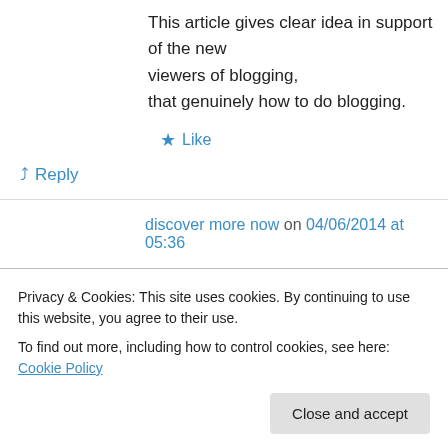This article gives clear idea in support of the new viewers of blogging, that genuinely how to do blogging.
★ Like
↪ Reply
discover more now on 04/06/2014 at 05:36
Thank you for sharing your thoughts. I truly appreciate your efforts and I am waiting for your
Privacy & Cookies: This site uses cookies. By continuing to use this website, you agree to their use.
To find out more, including how to control cookies, see here: Cookie Policy
Close and accept